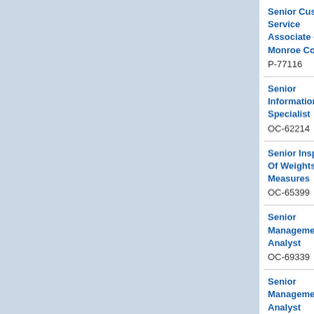| Job Title | Type | Deadline |
| --- | --- | --- |
| Senior Customer Service Associate - Monroe County
P-77116 | Promotional - MC | 09/02/22
05:00PM |
| Senior Information Specialist
OC-62214 | Open to Public | 09/19/22
05:00PM |
| Senior Inspector Of Weights And Measures
OC-65399 | Open to Public | 09/12/22
05:00PM |
| Senior Management Analyst
OC-69339 | Open to Public | 09/02/22
05:00PM |
| Senior Management Analyst
P-71445 | Promotional Rochester City School District | 09/02/22
05:00PM |
| Senior Parks Representative
OC-69825 | Open to Public | 09/12/22
05:00PM |
| Senior Personnel Clerk - Monroe Community Hospital | Open to Public | 09/12/22
05:00PM |